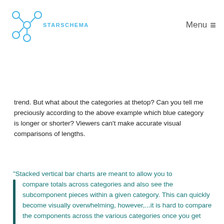types. Then what is the problem with stacked bars? I
STARSCHEMA | Menu
trend. But what about the categories at the top? Can you tell me preciously according to the above example which blue category is longer or shorter? Viewers can't make accurate visual comparisons of lengths.
"Stacked vertical bar charts are meant to allow you to compare totals across categories and also see the subcomponent pieces within a given category. This can quickly become visually overwhelming, however,...it is hard to compare the components across the various categories once you get beyond the bottom series because you no longer have a consistent baseline to use to compare."